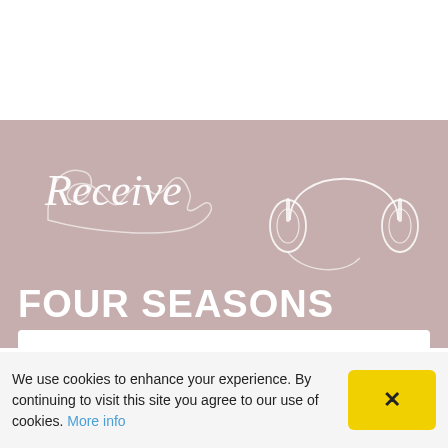[Figure (illustration): Pinkish-beige banner with cursive 'Receive' text and a line-art headphones illustration]
FOUR SEASONS
We use cookies to enhance your experience. By continuing to visit this site you agree to our use of cookies. More info